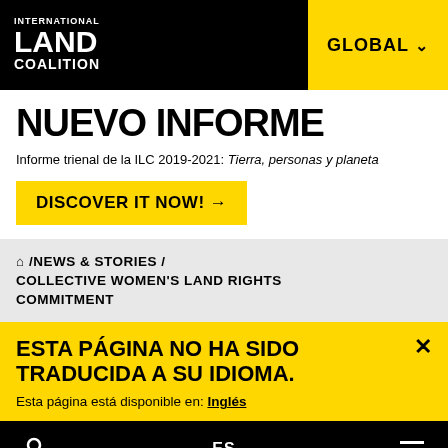INTERNATIONAL LAND COALITION | GLOBAL
NUEVO INFORME
Informe trienal de la ILC 2019-2021: Tierra, personas y planeta
DISCOVER IT NOW! →
🏠 / NEWS & STORIES / COLLECTIVE WOMEN'S LAND RIGHTS COMMITMENT
ESTA PÁGINA NO HA SIDO TRADUCIDA A SU IDIOMA.
Esta página está disponible en: Inglés
🔍  ES  ≡